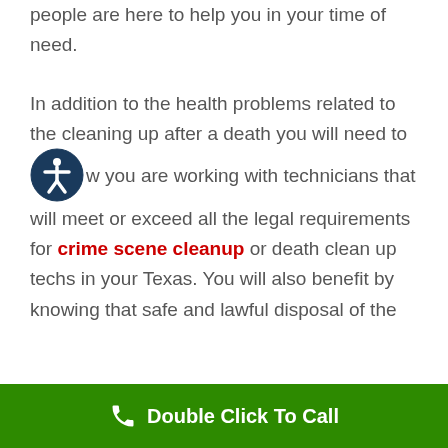people are here to help you in your time of need.
In addition to the health problems related to the cleaning up after a death you will need to know you are working with technicians that will meet or exceed all the legal requirements for crime scene cleanup or death clean up techs in your Texas. You will also benefit by knowing that safe and lawful disposal of the
Double Click To Call